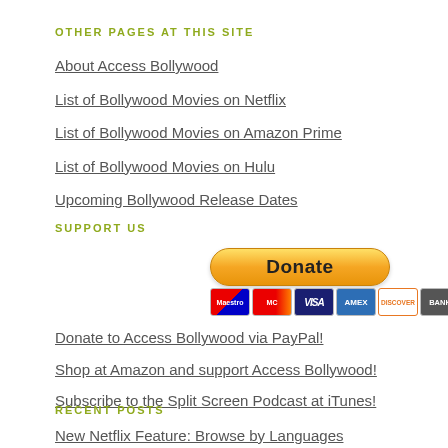OTHER PAGES AT THIS SITE
About Access Bollywood
List of Bollywood Movies on Netflix
List of Bollywood Movies on Amazon Prime
List of Bollywood Movies on Hulu
Upcoming Bollywood Release Dates
SUPPORT US
[Figure (other): PayPal Donate button with credit card icons (Maestro, MasterCard, Visa, Amex, Discover, Bank)]
Donate to Access Bollywood via PayPal!
Shop at Amazon and support Access Bollywood!
Subscribe to the Split Screen Podcast at iTunes!
RECENT POSTS
New Netflix Feature: Browse by Languages